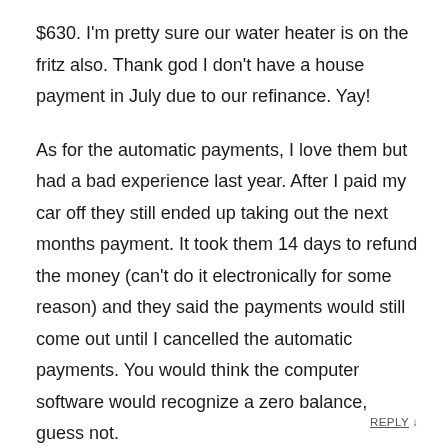$630. I'm pretty sure our water heater is on the fritz also. Thank god I don't have a house payment in July due to our refinance. Yay!
As for the automatic payments, I love them but had a bad experience last year. After I paid my car off they still ended up taking out the next months payment. It took them 14 days to refund the money (can't do it electronically for some reason) and they said the payments would still come out until I cancelled the automatic payments. You would think the computer software would recognize a zero balance, guess not.
REPLY ↓